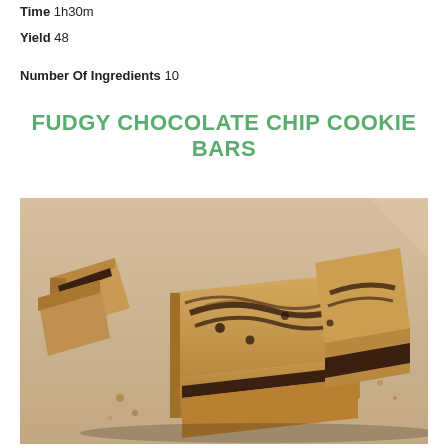Time 1h30m
Yield 48
Number Of Ingredients 10
FUDGY CHOCOLATE CHIP COOKIE BARS
[Figure (photo): Photo of fudgy chocolate chip cookie bars cut into squares, showing gooey chocolate layers inside golden cookie dough, arranged on a light surface.]